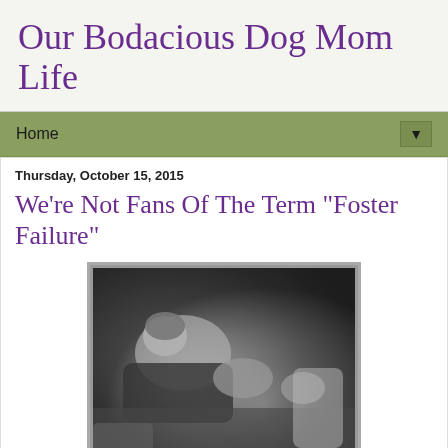Our Bodacious Dog Mom Life
Home ▼
Thursday, October 15, 2015
We're Not Fans Of The Term "Foster Failure"
[Figure (photo): Black and white photo of a person lying on a couch or floor with small dogs/cats, on a patterned sofa/rug background]